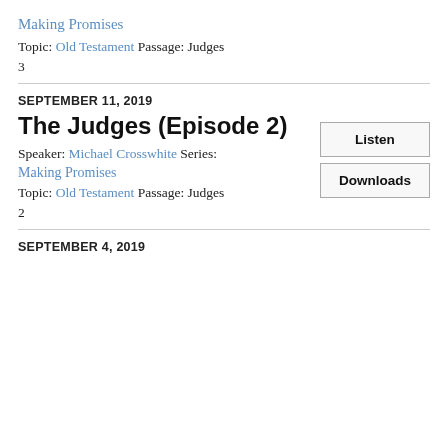Making Promises
Topic: Old Testament Passage: Judges
3
SEPTEMBER 11, 2019
The Judges (Episode 2)
Listen
Downloads
Speaker: Michael Crosswhite Series:
Making Promises
Topic: Old Testament Passage: Judges
2
SEPTEMBER 4, 2019